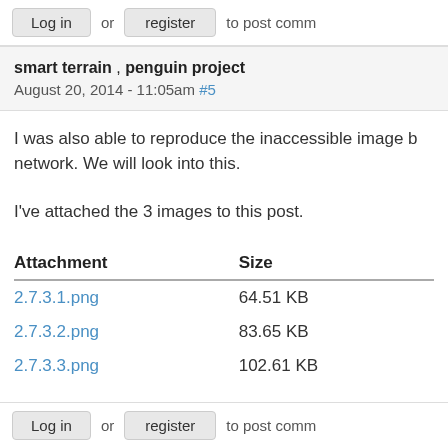Log in or register to post comm
smart terrain , penguin project
August 20, 2014 - 11:05am #5
I was also able to reproduce the inaccessible image b network. We will look into this.
I've attached the 3 images to this post.
| Attachment | Size |
| --- | --- |
| 2.7.3.1.png | 64.51 KB |
| 2.7.3.2.png | 83.65 KB |
| 2.7.3.3.png | 102.61 KB |
Log in or register to post comm